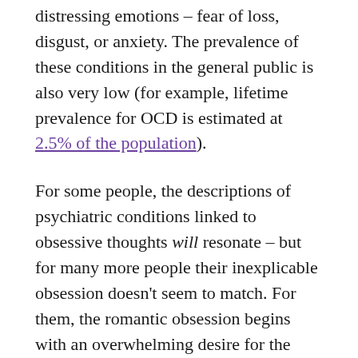distressing emotions – fear of loss, disgust, or anxiety. The prevalence of these conditions in the general public is also very low (for example, lifetime prevalence for OCD is estimated at 2.5% of the population).
For some people, the descriptions of psychiatric conditions linked to obsessive thoughts will resonate – but for many more people their inexplicable obsession doesn't seem to match. For them, the romantic obsession begins with an overwhelming desire for the other person, an intoxicating infatuation. There is just something bewitching and compelling about this other person that turns them into a irresistible force of attraction.